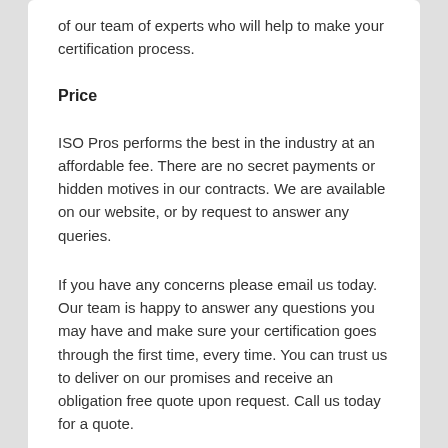of our team of experts who will help to make your certification process.
Price
ISO Pros performs the best in the industry at an affordable fee. There are no secret payments or hidden motives in our contracts. We are available on our website, or by request to answer any queries.
If you have any concerns please email us today. Our team is happy to answer any questions you may have and make sure your certification goes through the first time, every time. You can trust us to deliver on our promises and receive an obligation free quote upon request. Call us today for a quote.